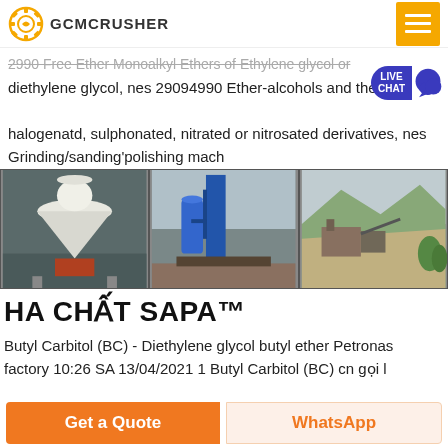GCMCRUSHER
Ether Monoalkyl Ethers of Ethylene Glycol or diethylene glycol, nes 29094990 Ether-alcohols and their halogenatd, sulphonated, nitrated or nitrosated derivatives, nes Grinding/sanding'polishing mach
[Figure (photo): Three industrial machinery photos: a large cone crusher in a factory, a vertical mill with blue tanks outdoors, and an open-pit mining/crushing site.]
HA CHẤT SAPA™
Butyl Carbitol (BC) - Diethylene glycol butyl ether Petronas factory 10:26 SA 13/04/2021 1 Butyl Carbitol (BC) cn gọi l
Get a Quote    WhatsApp